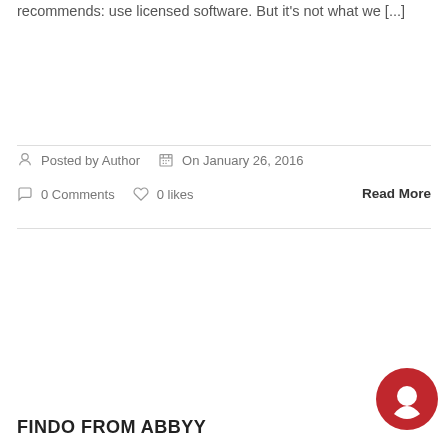recommends: use licensed software. But it's not what we [...]
Posted by Author   On January 26, 2016   0 Comments   0 likes   Read More
FINDO FROM ABBYY